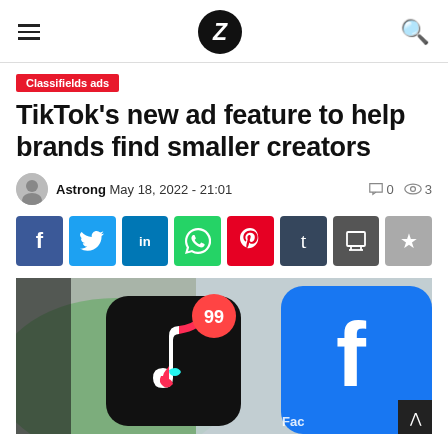Z (logo) navigation header with hamburger menu and search icon
Classifields ads
TikTok's new ad feature to help brands find smaller creators
Astrong  May 18, 2022 - 21:01   0  3
[Figure (infographic): Social sharing buttons row: Facebook, Twitter, LinkedIn, WhatsApp, Pinterest, Tumblr, Print, Bookmark]
[Figure (photo): Close-up photo of a smartphone screen showing TikTok app icon with 99 notification badge and partial Facebook app icon]